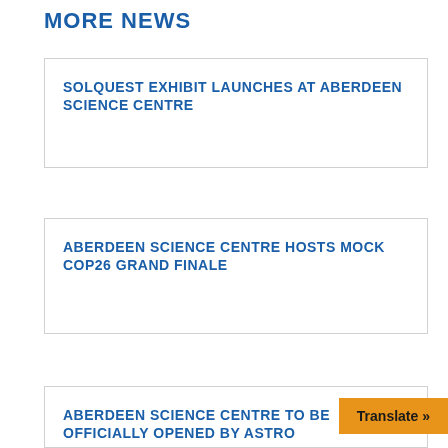MORE NEWS
SOLQUEST EXHIBIT LAUNCHES AT ABERDEEN SCIENCE CENTRE
ABERDEEN SCIENCE CENTRE HOSTS MOCK COP26 GRAND FINALE
ABERDEEN SCIENCE CENTRE TO BE OFFICIALLY OPENED BY ASTRO…